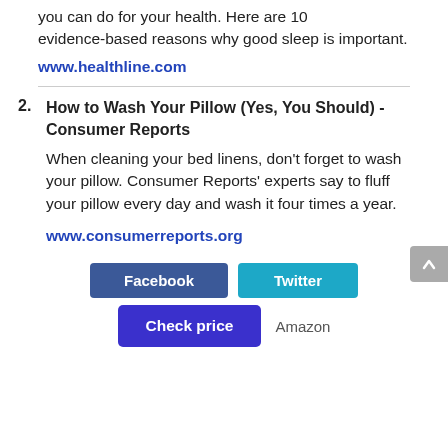you can do for your health. Here are 10 evidence-based reasons why good sleep is important.
www.healthline.com
2. How to Wash Your Pillow (Yes, You Should) - Consumer Reports
When cleaning your bed linens, don't forget to wash your pillow. Consumer Reports' experts say to fluff your pillow every day and wash it four times a year.
www.consumerreports.org
[Figure (other): Social sharing buttons: Facebook (dark blue), Twitter (cyan/teal), Check price (dark blue/purple), Amazon text link]